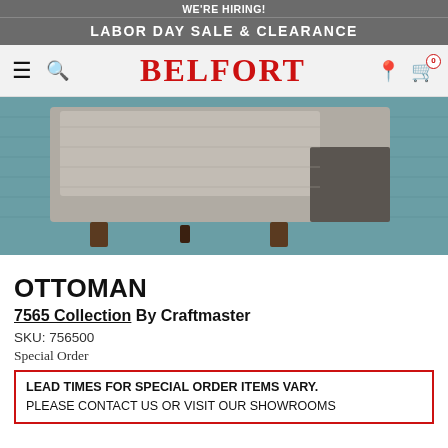WE'RE HIRING!
LABOR DAY SALE & CLEARANCE
BELFORT
[Figure (photo): Close-up photo of a gray upholstered ottoman with wooden legs on a blue-teal rug.]
OTTOMAN
7565 Collection By Craftmaster
SKU: 756500
Special Order
LEAD TIMES FOR SPECIAL ORDER ITEMS VARY. PLEASE CONTACT US OR VISIT OUR SHOWROOMS